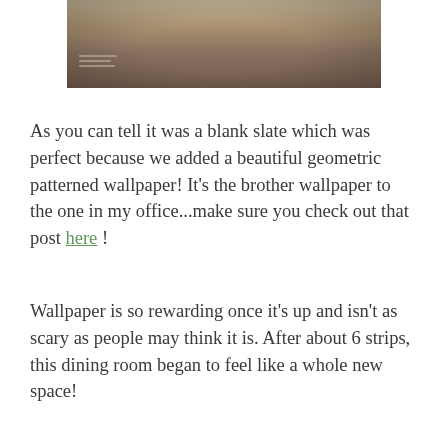[Figure (photo): Blurred interior photo of a dining room with a wooden table and chairs, slightly out of focus]
As you can tell it was a blank slate which was perfect because we added a beautiful geometric patterned wallpaper!  It's the brother wallpaper to the one in my office...make sure you check out that post here !
Wallpaper is so rewarding once it's up and isn't as scary as people may think it is.  After about 6 strips, this dining room began to feel like a whole new space!